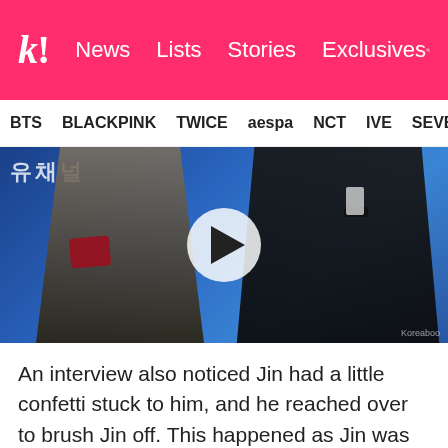k! News Lists Stories Exclusives
BTS BLACKPINK TWICE aespa NCT IVE SEVE
[Figure (photo): A female idol with long blonde hair wearing a dark coat with red bow and a male celebrity in dark suit standing at what appears to be a press event with blue Korean text backdrop. A video play button overlay is shown in the center.]
An interview also noticed Jin had a little confetti stuck to him, and he reached over to brush Jin off. This happened as Jin was being interviewed, and the funny moment made Dahyun and Chanyeol start laughing all over again.